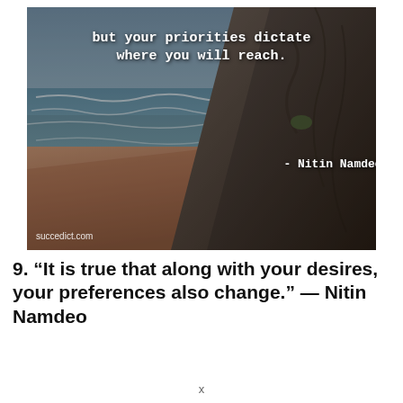[Figure (photo): Aerial photo of a coastal beach with ocean waves on the left, sandy beach in the middle, and rocky cliffs on the right. White text overlay shows a motivational quote by Nitin Namdeo. Website watermark 'succedict.com' in bottom left.]
9. “It is true that along with your desires, your preferences also change.” — Nitin Namdeo